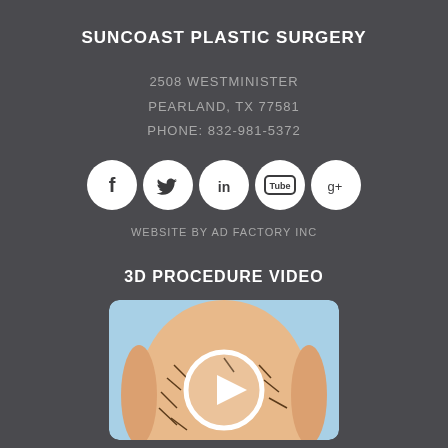SUNCOAST PLASTIC SURGERY
2508 WESTMINISTER
PEARLAND, TX 77581
PHONE: 832-981-5372
[Figure (infographic): Row of five social media icons (Facebook, Twitter, LinkedIn, YouTube, Google+) as white circles on dark background]
WEBSITE BY AD FACTORY INC
3D PROCEDURE VIDEO
[Figure (screenshot): Medical illustration showing a torso with surgical markings and a play button overlay, indicating a 3D procedure video thumbnail]